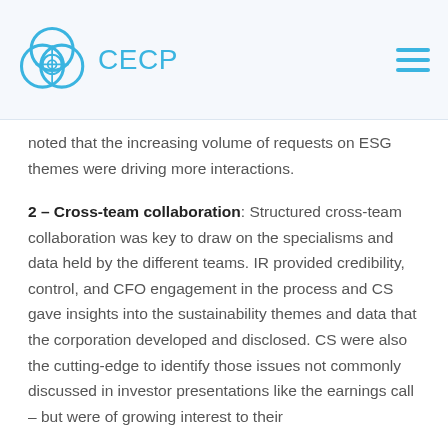[Figure (logo): CECP logo with circular intertwined rings in teal/blue and the text 'CECP' in light blue]
noted that the increasing volume of requests on ESG themes were driving more interactions.
2 – Cross-team collaboration: Structured cross-team collaboration was key to draw on the specialisms and data held by the different teams. IR provided credibility, control, and CFO engagement in the process and CS gave insights into the sustainability themes and data that the corporation developed and disclosed. CS were also the cutting-edge to identify those issues not commonly discussed in investor presentations like the earnings call – but were of growing interest to their